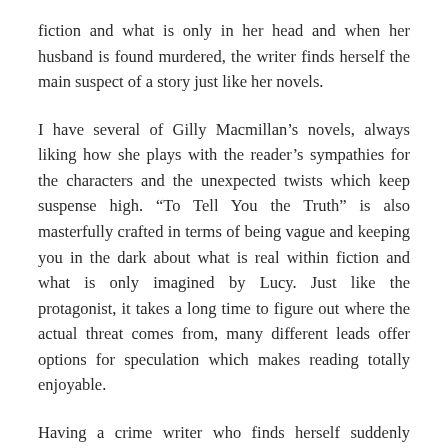fiction and what is only in her head and when her husband is found murdered, the writer finds herself the main suspect of a story just like her novels.
I have several of Gilly Macmillan's novels, always liking how she plays with the reader's sympathies for the characters and the unexpected twists which keep suspense high. “To Tell You the Truth” is also masterfully crafted in terms of being vague and keeping you in the dark about what is real within fiction and what is only imagined by Lucy. Just like the protagonist, it takes a long time to figure out where the actual threat comes from, many different leads offer options for speculation which makes reading totally enjoyable.
Having a crime writer who finds herself suddenly suspect in a crime in which the police use her own writing against her, is a setting which has been used